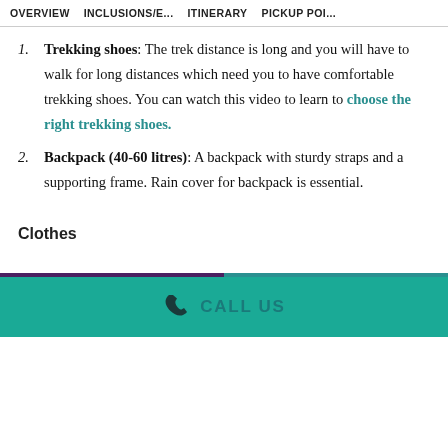OVERVIEW   INCLUSIONS/E...   ITINERARY   PICKUP POI...
Trekking shoes: The trek distance is long and you will have to walk for long distances which need you to have comfortable trekking shoes. You can watch this video to learn to choose the right trekking shoes.
Backpack (40-60 litres): A backpack with sturdy straps and a supporting frame. Rain cover for backpack is essential.
Clothes
CALL US